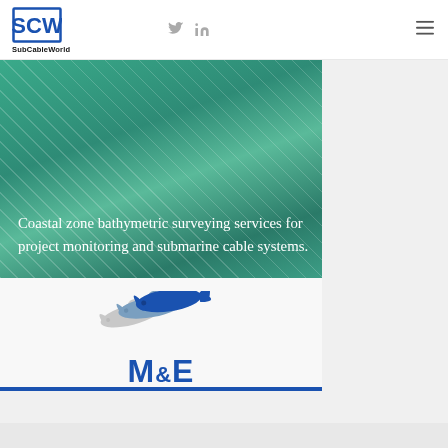SubCableWorld
[Figure (photo): Coastal zone bathymetric surveying banner image with teal/green water background]
Coastal zone bathymetric surveying services for project monitoring and submarine cable systems.
[Figure (logo): Morgan & Eklund Inc. logo with three dolphin silhouettes (light gray, medium blue-gray, dark blue) and M&E text in blue]
Morgan & Eklund Inc.
morganeklund.com